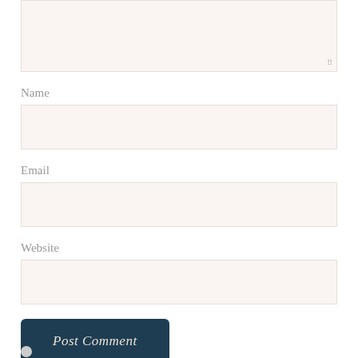[Figure (screenshot): Comment form textarea (top portion, partially visible) with resize handle at bottom right corner]
Name
[Figure (screenshot): Name input field, empty, light beige background]
Email
[Figure (screenshot): Email input field, empty, light beige background]
Website
[Figure (screenshot): Website input field, empty, light beige background]
Post Comment